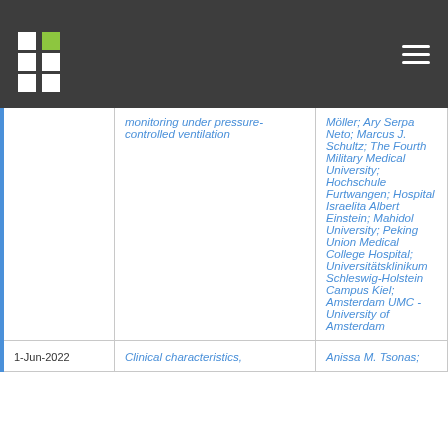| Date | Title | Authors/Affiliations |
| --- | --- | --- |
|  | monitoring under pressure-controlled ventilation | Möller; Ary Serpa Neto; Marcus J. Schultz; The Fourth Military Medical University; Hochschule Furtwangen; Hospital Israelita Albert Einstein; Mahidol University; Peking Union Medical College Hospital; Universitätsklinikum Schleswig-Holstein Campus Kiel; Amsterdam UMC - University of Amsterdam |
| 1-Jun-2022 | Clinical characteristics, | Anissa M. Tsonas; |